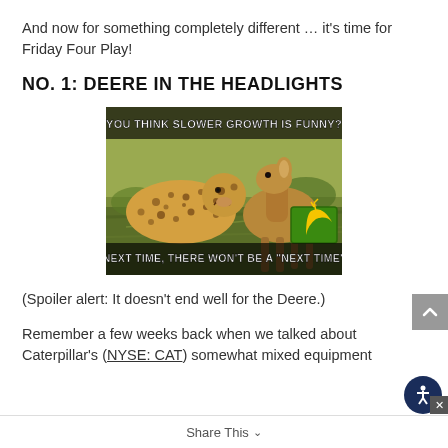And now for something completely different … it's time for Friday Four Play!
NO. 1: DEERE IN THE HEADLIGHTS
[Figure (photo): A meme image showing a cheetah confronting a deer (with John Deere logo). Top text: 'YOU THINK SLOWER GROWTH IS FUNNY?' Bottom text: 'NEXT TIME, THERE WON'T BE A "NEXT TIME"']
(Spoiler alert: It doesn't end well for the Deere.)
Remember a few weeks back when we talked about Caterpillar's (NYSE: CAT) somewhat mixed equipment
Share This